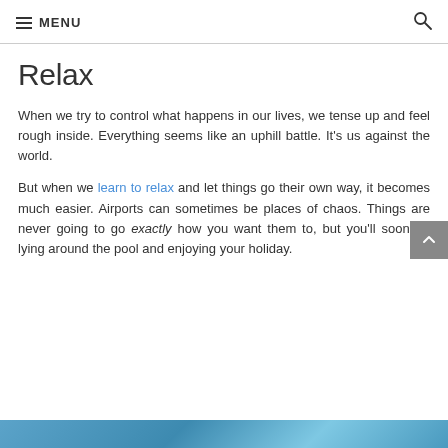MENU
Relax
When we try to control what happens in our lives, we tense up and feel rough inside. Everything seems like an uphill battle. It's us against the world.
But when we learn to relax and let things go their own way, it becomes much easier. Airports can sometimes be places of chaos. Things are never going to go exactly how you want them to, but you'll soon be lying around the pool and enjoying your holiday.
[Figure (photo): A blue sky and nature scene partially visible at the bottom of the page]